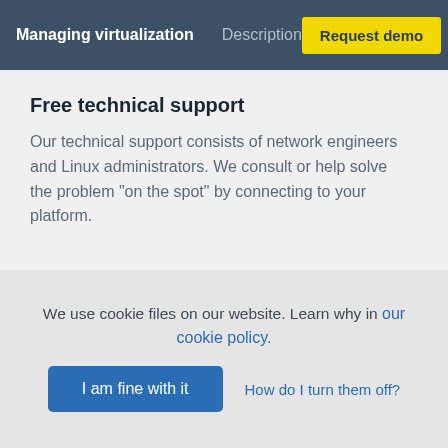Managing virtualization   Description   Request demo
Free technical support
Our technical support consists of network engineers and Linux administrators. We consult or help solve the problem "on the spot" by connecting to your platform.
Regular improvements
We use cookie files on our website. Learn why in our cookie policy.
I am fine with it   How do I turn them off?